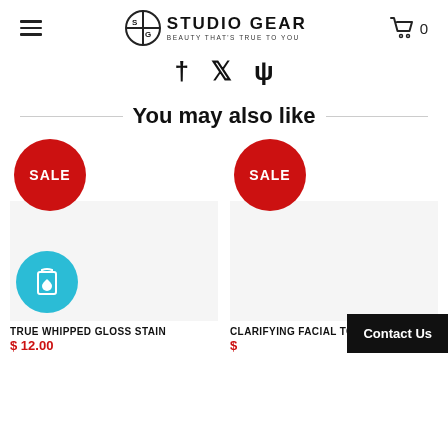Studio Gear — Beauty That's True To You
[Figure (logo): Studio Gear logo with circular SG icon and tagline BEAUTY THAT'S TRUE TO YOU]
[Figure (infographic): Social media icons: Facebook cross, Twitter bird, Tumblr psi symbol]
You may also like
[Figure (infographic): SALE badge (red circle) over product image area — left product: TRUE WHIPPED GLOSS STAIN $12.00 with teal wishlist button]
[Figure (infographic): SALE badge (red circle) over product image area — right product: CLARIFYING FACIAL TONER with price partially visible]
TRUE WHIPPED GLOSS STAIN
$ 12.00
CLARIFYING FACIAL TONER
Contact Us